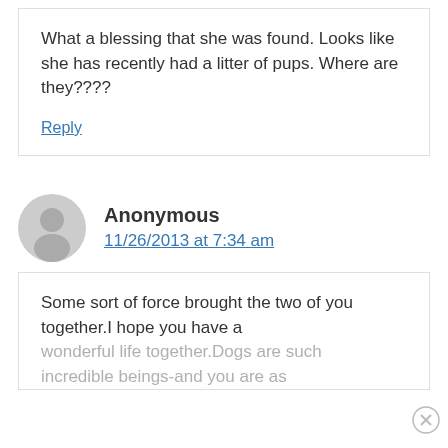What a blessing that she was found. Looks like she has recently had a litter of pups. Where are they????
Reply
Anonymous
11/26/2013 at 7:34 am
Some sort of force brought the two of you together.I hope you have a wonderful life together.Dogs are such incredible beings-and you are as